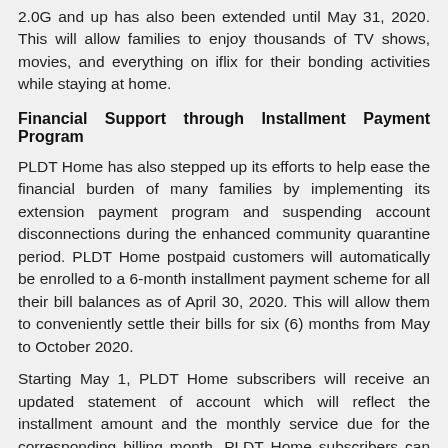2.0G and up has also been extended until May 31, 2020. This will allow families to enjoy thousands of TV shows, movies, and everything on iflix for their bonding activities while staying at home.
Financial Support through Installment Payment Program
PLDT Home has also stepped up its efforts to help ease the financial burden of many families by implementing its extension payment program and suspending account disconnections during the enhanced community quarantine period. PLDT Home postpaid customers will automatically be enrolled to a 6-month installment payment scheme for all their bill balances as of April 30, 2020. This will allow them to conveniently settle their bills for six (6) months from May to October 2020.
Starting May 1, PLDT Home subscribers will receive an updated statement of account which will reflect the installment amount and the monthly service due for the corresponding billing month. PLDT Home subscribers can also enjoy 20% or up to Php100 cashback if they settle their March to May bills in full and on time using the PayMaya